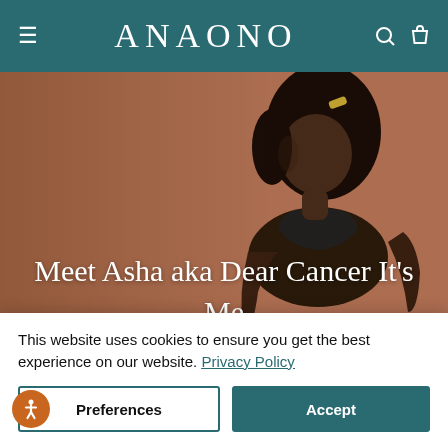ANAONO
[Figure (photo): A Black woman with curly hair wearing a black lace bralette, posed against a warm brown background. Text overlay reads 'Meet Asha aka Dear Cancer It's Me'.]
Meet Asha aka Dear Cancer It's Me
Previous Next
This website uses cookies to ensure you get the best experience on our website. Privacy Policy
Preferences
Accept